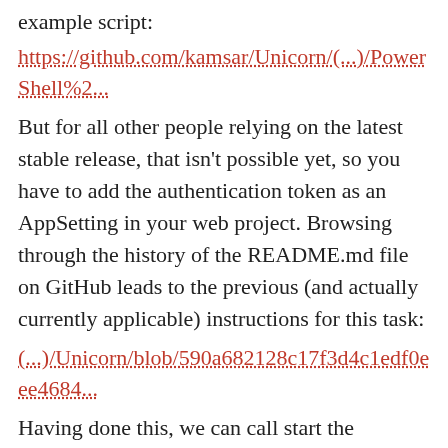example script:
https://github.com/kamsar/Unicorn/(...)/PowerShell%2...
But for all other people relying on the latest stable release, that isn’t possible yet, so you have to add the authentication token as an AppSetting in your web project. Browsing through the history of the README.md file on GitHub leads to the previous (and actually currently applicable) instructions for this task:
(...)/Unicorn/blob/590a682128c17f3d4c1edf0eee4684...
Having done this, we can call start the synchronization process by calling this PowerShell script from the last build step in TeamCity:
[Figure (screenshot): Code block showing line numbers 1 and 2, with partial code visible]